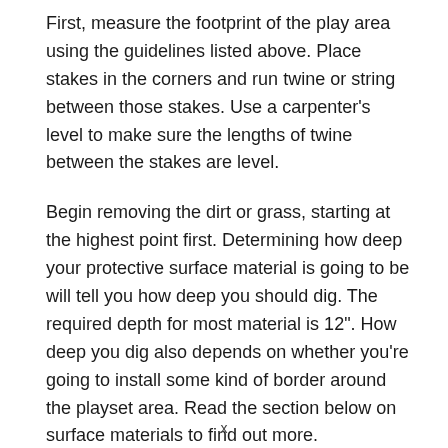First, measure the footprint of the play area using the guidelines listed above. Place stakes in the corners and run twine or string between those stakes. Use a carpenter’s level to make sure the lengths of twine between the stakes are level.
Begin removing the dirt or grass, starting at the highest point first. Determining how deep your protective surface material is going to be will tell you how deep you should dig. The required depth for most material is 12". How deep you dig also depends on whether you’re going to install some kind of border around the playset area. Read the section below on surface materials to find out more.
x